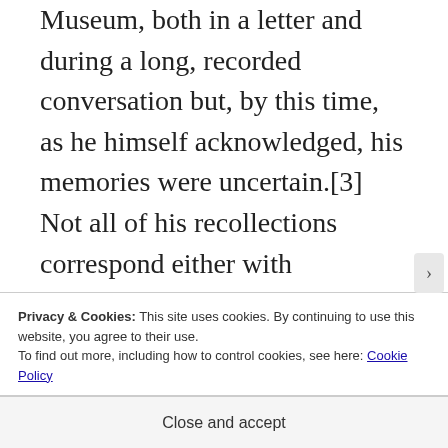Museum, both in a letter and during a long, recorded conversation but, by this time, as he himself acknowledged, his memories were uncertain.[3]  Not all of his recollections correspond either with contemporary official records, or with accounts by two other members of the Artists Rifles dating from the 1930s, but it is still possible to clearly match the painting with the recorded events of the brief but disastrous action.
Privacy & Cookies: This site uses cookies. By continuing to use this website, you agree to their use.
To find out more, including how to control cookies, see here: Cookie Policy
Close and accept